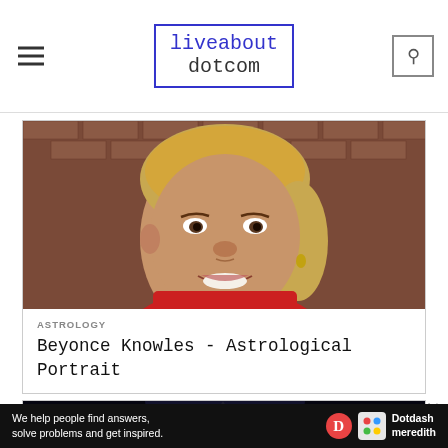liveabout dotcom
[Figure (photo): Portrait photo of Beyonce Knowles smiling, wearing red, against a brick wall background]
ASTROLOGY
Beyonce Knowles - Astrological Portrait
[Figure (photo): Dark concert/performance photo of a person in a suit on stage]
Ad
We help people find answers, solve problems and get inspired. Dotdash meredith